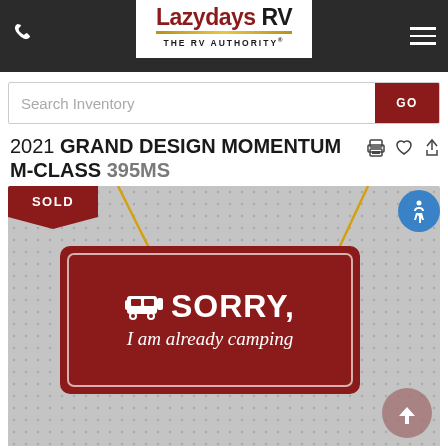[Figure (screenshot): Lazydays RV website header with logo, phone icon, and hamburger menu on dark background]
Search Inventory
2021 GRAND DESIGN MOMENTUM M-CLASS 395MS
[Figure (photo): Sold listing image showing a dark red sign that reads SORRY, I am already camping, hanging from yellow strings on a dotted grey background. A red SOLD banner is in the top-left corner.]